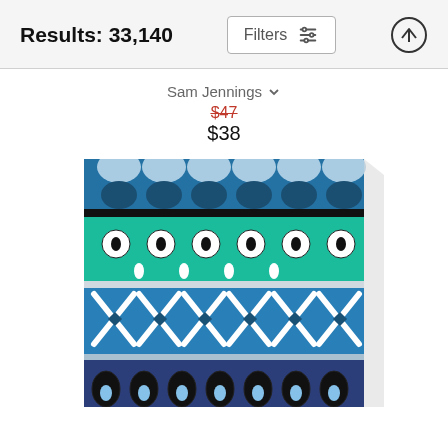Results: 33,140
Filters
Sam Jennings
$47
$38
[Figure (photo): Canvas print of a decorative tile-style artwork featuring horizontal bands of blue and teal patterns including scallops, white flowers, X patterns with diamonds, and teardrop shapes, shown as a 3D canvas with side depth visible]